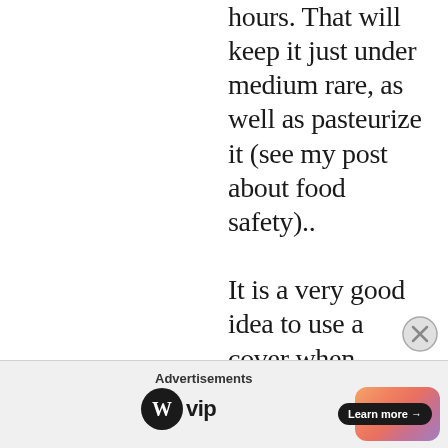hours. That will keep it just under medium rare, as well as pasteurize it (see my post about food safety).. It is a very good idea to use a cover when cooking sous-vide. This does not cut the time down, but it prevents a lot of water loss and
Advertisements
[Figure (logo): WordPress VIP logo and gradient advertisement banner with Learn more button]